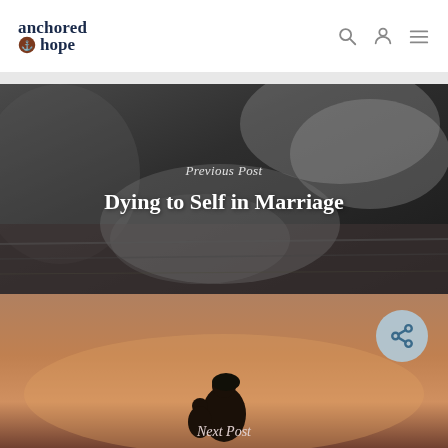anchored hope
[Figure (photo): Black and white photo of two hands holding each other over what appears to be a wooden surface or book, with wedding ring visible]
Previous Post
Dying to Self in Marriage
[Figure (photo): Warm sunset silhouette photo showing a mother and child figure against an orange and dusky sky background]
Next Post